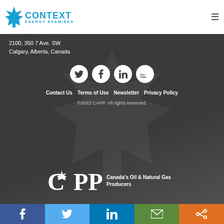[Figure (logo): Context Energy Examined logo with maple leaf icon in blue]
2100, 350 7 Ave. SW
Calgary, Alberta, Canada
[Figure (infographic): Four circular white social media icons: Twitter bird, Facebook f, LinkedIn in, YouTube logo on dark background]
Contact Us   Terms of Use   Newsletter   Privacy Policy
©2022 CAPP. All rights reserved.
[Figure (logo): CAPP logo – Canada's Oil & Natural Gas Producers – white text on dark background with maple leaf]
Facebook | Twitter | LinkedIn | Email | Share – colored bottom bar